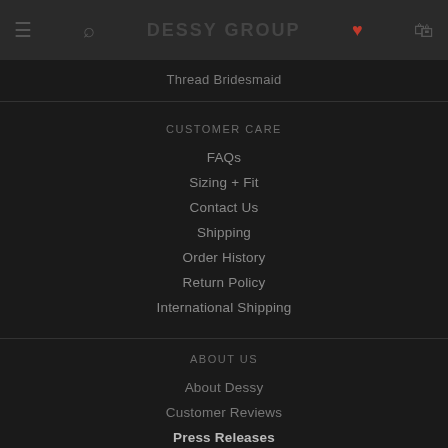DESSY GROUP
Thread Bridesmaid
CUSTOMER CARE
FAQs
Sizing + Fit
Contact Us
Shipping
Order History
Return Policy
International Shipping
ABOUT US
About Dessy
Customer Reviews
Press Releases
As Seen In
For Retailers